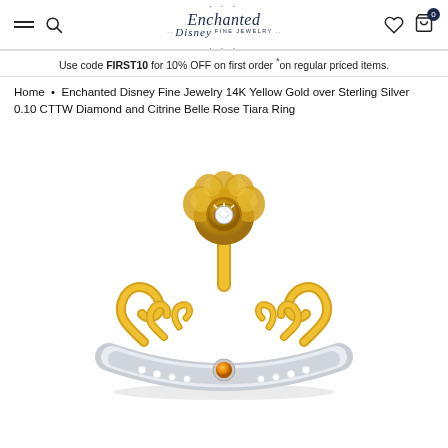Enchanted Disney Fine Jewelry header with navigation icons and logo
Use code FIRST10 for 10% OFF on first order *on regular priced items.
Home • Enchanted Disney Fine Jewelry 14K Yellow Gold over Sterling Silver 0.10 CTTW Diamond and Citrine Belle Rose Tiara Ring
[Figure (photo): Photo of a gold and silver tiara ring featuring a rose with a diamond center stone at the top, decorative gold scrollwork, a citrine gemstone in the center of the band, and diamond accents along the silver band.]